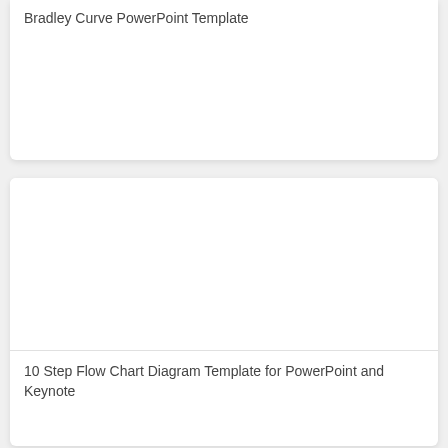Bradley Curve PowerPoint Template
[Figure (other): Empty white image area for 10 Step Flow Chart Diagram Template card]
10 Step Flow Chart Diagram Template for PowerPoint and Keynote
[Figure (other): Partially visible white card at bottom of page]